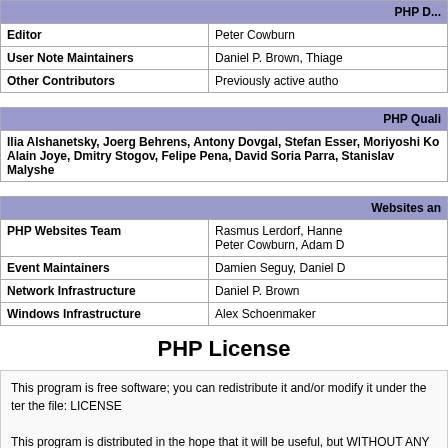| PHP D... |
| --- |
| Editor | Peter Cowburn |
| User Note Maintainers | Daniel P. Brown, Thiage... |
| Other Contributors | Previously active autho... |
| PHP Quali... |
| --- |
| Ilia Alshanetsky, Joerg Behrens, Antony Dovgal, Stefan Esser, Moriyoshi Ko... Alain Joye, Dmitry Stogov, Felipe Pena, David Soria Parra, Stanislav Malyshe... |
| Websites an... |
| --- |
| PHP Websites Team | Rasmus Lerdorf, Hanne... Peter Cowburn, Adam D... |
| Event Maintainers | Damien Seguy, Daniel D... |
| Network Infrastructure | Daniel P. Brown |
| Windows Infrastructure | Alex Schoenmaker |
PHP License
This program is free software; you can redistribute it and/or modify it under the ter... the file: LICENSE

This program is distributed in the hope that it will be useful, but WITHOUT ANY W... PARTICULAR PURPOSE.